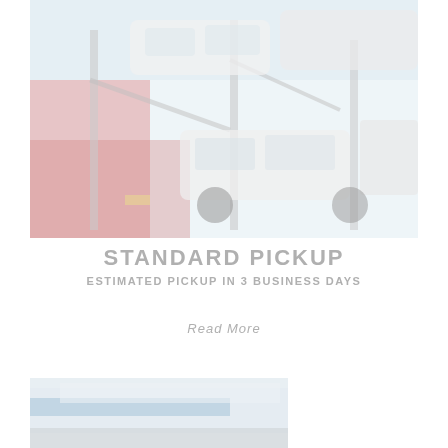[Figure (photo): A car transport truck loaded with multiple white cars stacked on multiple levels, with a red truck cab visible, photographed from the side in an open yard area. Image has a faded/washed-out appearance.]
STANDARD PICKUP
ESTIMATED PICKUP IN 3 BUSINESS DAYS
Read More
[Figure (photo): Partial view of a vehicle, showing the lower body and undercarriage area, with blue and white tones. Image appears faded/washed-out.]